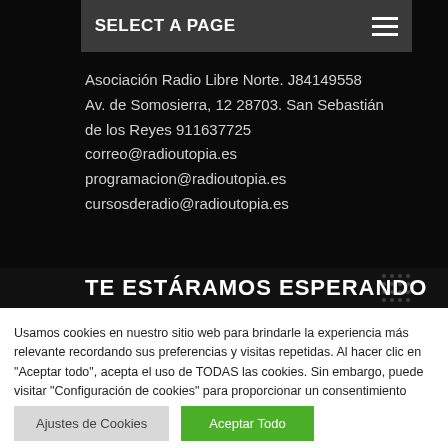SELECT A PAGE
Asociación Radio Libre Norte. J84149558
Av. de Somosierra, 12 28703. San Sebastián de los Reyes 911637725
correo@radioutopia.es
programacion@radioutopia.es
cursosderadio@radioutopia.es
TE ESTÁRAMOS ESPERANDO
Usamos cookies en nuestro sitio web para brindarle la experiencia más relevante recordando sus preferencias y visitas repetidas. Al hacer clic en "Aceptar todo", acepta el uso de TODAS las cookies. Sin embargo, puede visitar "Configuración de cookies" para proporcionar un consentimiento controlado.
Ajustes de Cookies | Aceptar Todo